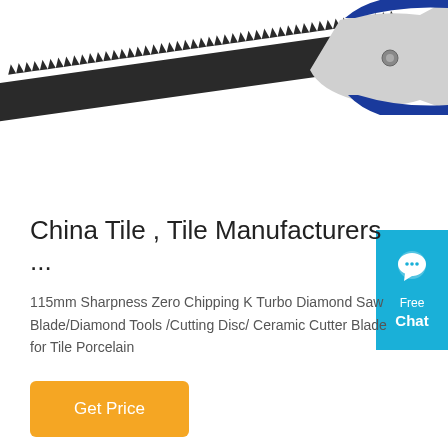[Figure (photo): A hand saw with a blue and gray handle and serrated black blade, shown at an angle against a white background. The top portion of the image is cropped showing the blade teeth and handle.]
[Figure (other): A teal/cyan colored chat widget button in the top-right corner showing a speech bubble icon with 'Free Chat' text in white.]
China Tile , Tile Manufacturers ...
115mm Sharpness Zero Chipping K Turbo Diamond Saw Blade/Diamond Tools /Cutting Disc/ Ceramic Cutter Blade for Tile Porcelain
Get Price